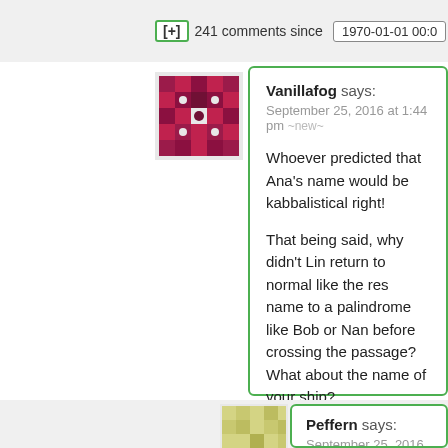[+] 241 comments since 1970-01-01 00:0
Vanillafog says:
September 25, 2016 at 1:44 pm ~new~
Whoever predicted that Ana's name would be kabbalistical right!
That being said, why didn't Lin return to normal like the rest name to a palindrome like Bob or Nan before crossing the passage? What about the name of your ship?
Reply Hide
Peffern says:
September 25, 2016 at 1:56 pm ~new~
I don't think changing your name to NaN would f machinery of the universe, just saying.
Reply Hide 1